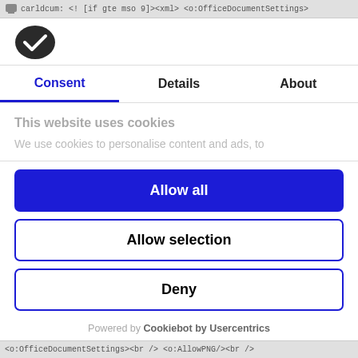carldcum: <! [if gte mso 9]><xml> <o:OfficeDocumentSettings>
[Figure (logo): Cookiebot logo - dark oval/shield shape with white checkmark]
Consent | Details | About
This website uses cookies
We use cookies to personalise content and ads, to
Allow all
Allow selection
Deny
Powered by Cookiebot by Usercentrics
<o:OfficeDocumentSettings><br /> <o:AllowPNG/><br />